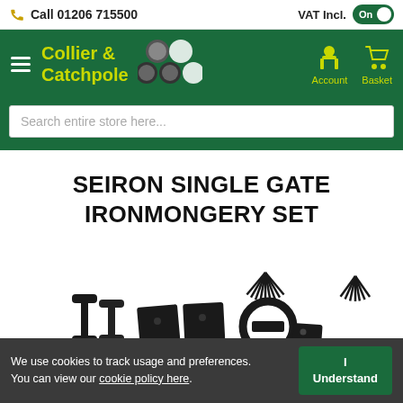Call 01206 715500 | VAT Incl. On
[Figure (logo): Collier & Catchpole logo with green background, yellow brand name text and stacked ball logo graphic, with Account and Basket navigation icons]
Search entire store here...
SEIRON SINGLE GATE IRONMONGERY SET
[Figure (photo): Product photo showing black metal gate ironmongery set components including hinges, latch, bolts and screws on white background]
We use cookies to track usage and preferences. You can view our cookie policy here.